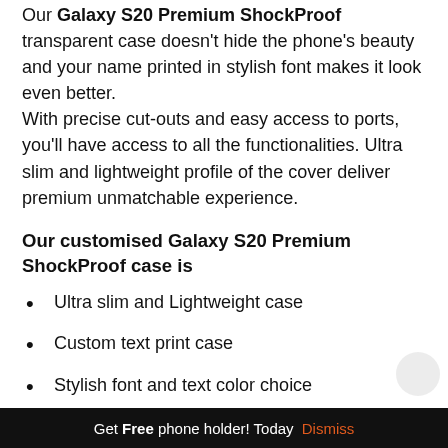Our Galaxy S20 Premium ShockProof transparent case doesn't hide the phone's beauty and your name printed in stylish font makes it look even better.
With precise cut-outs and easy access to ports, you'll have access to all the functionalities. Ultra slim and lightweight profile of the cover deliver premium unmatchable experience.
Our customised Galaxy S20 Premium ShockProof case is
Ultra slim and Lightweight case
Custom text print case
Stylish font and text color choice
Perfect fit and precise cut-outs
Easy access to all ports
Long-lasting UV print
Get Free phone holder! Today Dismiss